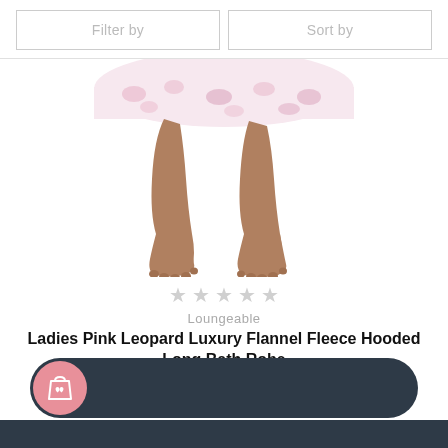Filter by | Sort by
[Figure (photo): Lower body of a person wearing a pink flannel fleece bath robe, showing legs and bare feet against a white background]
★★★★★ (empty stars, grey rating)
Loungeable
Ladies Pink Leopard Luxury Flannel Fleece Hooded Long Bath Robe
[Figure (infographic): Dark navy add-to-basket button bar with pink shopping bag icon circle on the left]